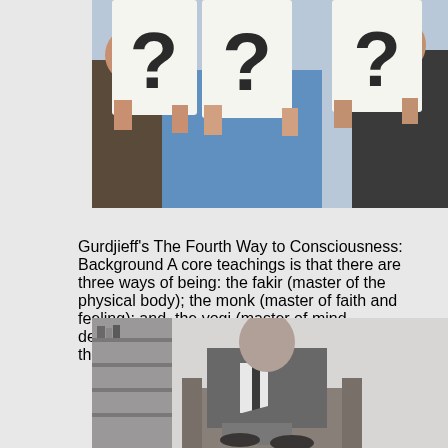[Figure (photo): People holding up signs with question marks in front of their faces, person in center wearing blue shirt]
Gurdjieff's The Fourth Way to Consciousness: Background A core teachings is that there are three ways of being: the fakir (master of the physical body); the monk (master of faith and feeling); and, the yogi (master of mind development). A key goal is to KNOW yourself at the deepest levels. To KNOW is to be, [...]
[Figure (photo): Black and white photograph of an elderly man in a suit sitting in a chair with legs crossed, appearing to be in a room with shelves]